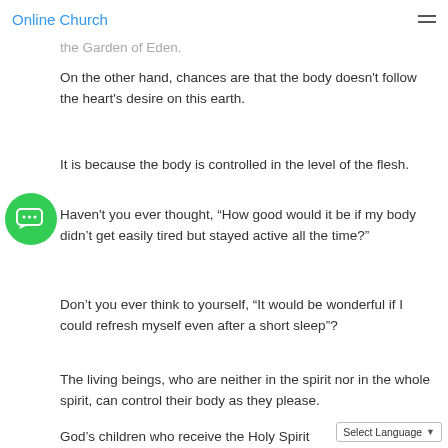Online Church
the Garden of Eden.
On the other hand, chances are that the body doesn't follow the heart's desire on this earth.
It is because the body is controlled in the level of the flesh.
Haven't you ever thought, “How good would it be if my body didn't get easily tired but stayed active all the time?”
Don’t you ever think to yourself, “It would be wonderful if I could refresh myself even after a short sleep”?
The living beings, who are neither in the spirit nor in the whole spirit, can control their body as they please.
God’s children who receive the Holy Spirit